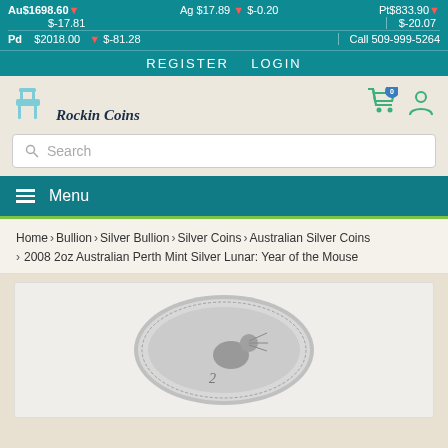Au$1698.60 ▼  Ag $17.89 ▼ $-0.20  Pt$833.90 ▼
$-17.81  $-20.07
Pd  $2018.00  ▼ $-81.28  Call 509-999-5264
REGISTER   LOGIN
[Figure (logo): Rockin Coins logo with cart icon and italic text]
Search
≡  Menu
Home > Bullion > Silver Bullion > Silver Coins > Australian Silver Coins > 2008 2oz Australian Perth Mint Silver Lunar: Year of the Mouse
[Figure (photo): Silver coin showing Year of the Mouse design, 2008 2oz Australian Perth Mint Silver Lunar coin]